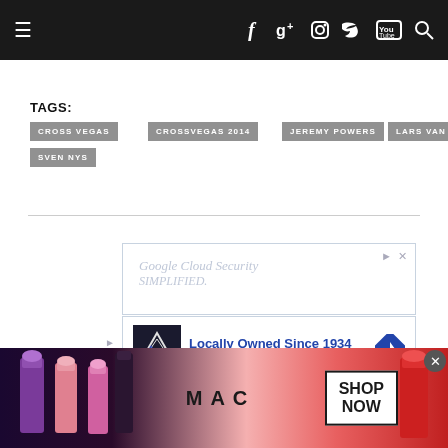Navigation bar with hamburger menu, social icons (Facebook, Google+, Instagram, Twitter, YouTube) and search
TAGS:
CROSS VEGAS
CROSSVEGAS 2014
JEREMY POWERS
LARS VAN DER HAAR
SVEN NYS
[Figure (screenshot): Google Cloud Security advertisement - simplified]
[Figure (screenshot): Vito Services Plumbing, Heating & C... - Locally Owned Since 1934 advertisement]
[Figure (screenshot): MAC cosmetics advertisement with lipsticks and SHOP NOW button]